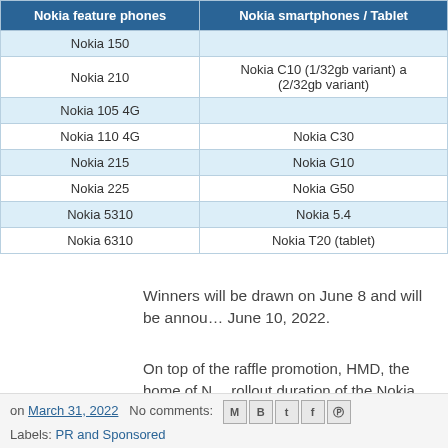| Nokia feature phones | Nokia smartphones / Tablet |
| --- | --- |
| Nokia 150 |  |
| Nokia 210 | Nokia C10 (1/32gb variant) a (2/32gb variant) |
| Nokia 105 4G |  |
| Nokia 110 4G | Nokia C30 |
| Nokia 215 | Nokia G10 |
| Nokia 225 | Nokia G50 |
| Nokia 5310 | Nokia 5.4 |
| Nokia 6310 | Nokia T20 (tablet) |
Winners will be drawn on June 8 and will be announced June 10, 2022.
On top of the raffle promotion, HMD, the home of Nokia, rollout duration of the Nokia C10 1/32GB variant. P only Php 3,590 retail price, with Php 500 off.
on March 31, 2022   No comments:   [icons]   Labels: PR and Sponsored